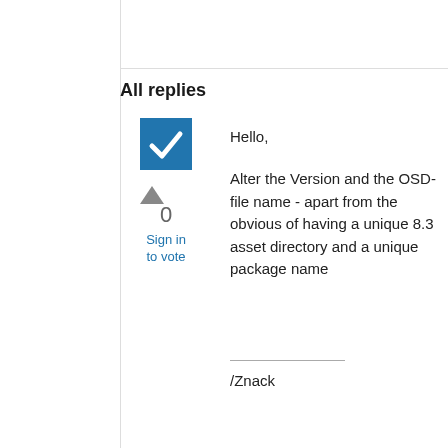All replies
[Figure (other): Blue checkbox icon with white checkmark, indicating a marked/accepted answer]
0
Sign in to vote
Hello,
Alter the Version and the OSD-file name - apart from the obvious of having a unique 8.3 asset directory and a unique package name
/Znack